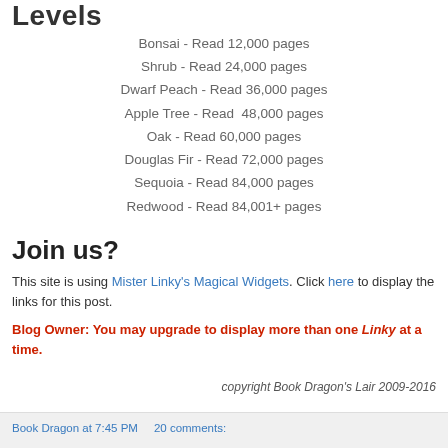Levels
Bonsai - Read 12,000 pages
Shrub - Read 24,000 pages
Dwarf Peach - Read 36,000 pages
Apple Tree - Read  48,000 pages
Oak - Read 60,000 pages
Douglas Fir - Read 72,000 pages
Sequoia - Read 84,000 pages
Redwood - Read 84,001+ pages
Join us?
This site is using Mister Linky's Magical Widgets. Click here to display the links for this post.
Blog Owner: You may upgrade to display more than one Linky at a time.
copyright Book Dragon's Lair 2009-2016
Book Dragon at 7:45 PM     20 comments: